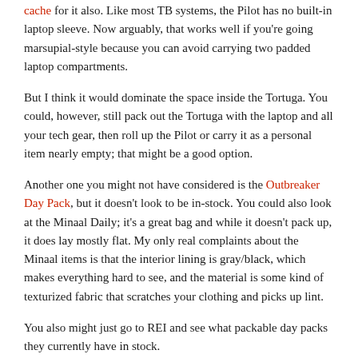cache for it also. Like most TB systems, the Pilot has no built-in laptop sleeve. Now arguably, that works well if you're going marsupial-style because you can avoid carrying two padded laptop compartments.
But I think it would dominate the space inside the Tortuga. You could, however, still pack out the Tortuga with the laptop and all your tech gear, then roll up the Pilot or carry it as a personal item nearly empty; that might be a good option.
Another one you might not have considered is the Outbreaker Day Pack, but it doesn't look to be in-stock. You could also look at the Minaal Daily; it's a great bag and while it doesn't pack up, it does lay mostly flat. My only real complaints about the Minaal items is that the interior lining is gray/black, which makes everything hard to see, and the material is some kind of texturized fabric that scratches your clothing and picks up lint.
You also might just go to REI and see what packable day packs they currently have in stock.
Last edited by bouncing; 03-22-2019, 09:53 AM.
Kaadk replied